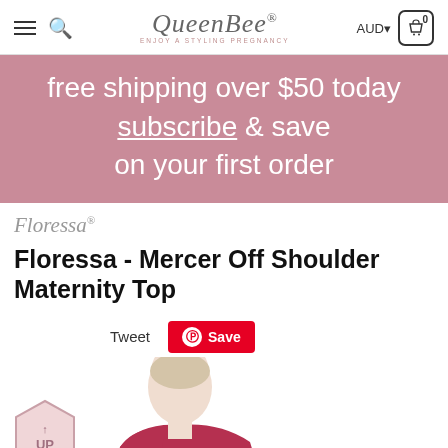Queen Bee – ENJOY A STYLING PREGNANCY | AUD | Cart (0)
[Figure (infographic): Promotional banner: free shipping over $50 today, subscribe & save on your first order]
Floressa®
Floressa - Mercer Off Shoulder Maternity Top
Tweet | Save
[Figure (photo): Model wearing Floressa Mercer Off Shoulder Maternity Top in red/raspberry. Partial view showing upper body. UP badge in lower left corner.]